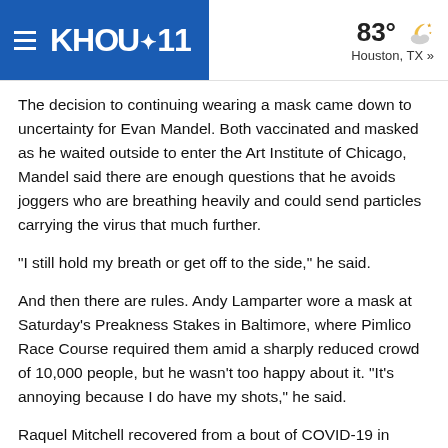KHOU 11 | 83° Houston, TX »
The decision to continuing wearing a mask came down to uncertainty for Evan Mandel. Both vaccinated and masked as he waited outside to enter the Art Institute of Chicago, Mandel said there are enough questions that he avoids joggers who are breathing heavily and could send particles carrying the virus that much further.
"I still hold my breath or get off to the side," he said.
And then there are rules. Andy Lamparter wore a mask at Saturday's Preakness Stakes in Baltimore, where Pimlico Race Course required them amid a sharply reduced crowd of 10,000 people, but he wasn't too happy about it. "It's annoying because I do have my shots," he said.
Raquel Mitchell recovered from a bout of COVID-19 in December and is adamant against getting a vaccine, which she doesn't trust because of the quick development. She's still not sure she absolutely has to wear one, though with